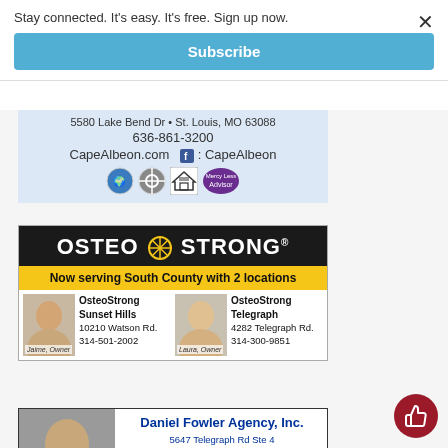Stay connected. It's easy. It's free. Sign up now.
Subscribe
[Figure (other): Cape Albeon advertisement showing address 5580 Lake Bend Dr, St. Louis, MO 63088, phone 636-861-3200, website CapeAlbeon.com, Facebook: CapeAlbeon, with certification logos]
[Figure (other): OsteoStrong advertisement showing logo, tagline 'Now serving South County with 2 locations', two locations: OsteoStrong Sunset Hills at 10210 Watson Rd, 314-501-2002 (Jaime, Owner) and OsteoStrong Telegraph at 4282 Telegraph Rd, 314-300-9851 (Laura, Owner)]
[Figure (other): Daniel Fowler Agency Inc advertisement showing a man's photo, address 5647 Telegraph Rd Ste 4, Saint Louis MO 63129-4200, dfowler@amfam.com, (314) 846-1700]